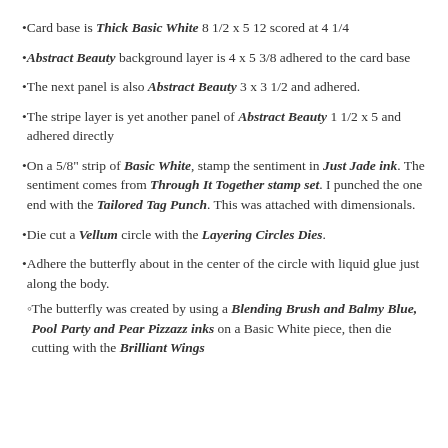Card base is Thick Basic White 8 1/2 x 5 12 scored at 4 1/4
Abstract Beauty background layer is 4 x 5 3/8 adhered to the card base
The next panel is also Abstract Beauty 3 x 3 1/2 and adhered.
The stripe layer is yet another panel of Abstract Beauty 1 1/2 x 5 and adhered directly
On a 5/8" strip of Basic White, stamp the sentiment in Just Jade ink. The sentiment comes from Through It Together stamp set. I punched the one end with the Tailored Tag Punch. This was attached with dimensionals.
Die cut a Vellum circle with the Layering Circles Dies.
Adhere the butterfly about in the center of the circle with liquid glue just along the body.
The butterfly was created by using a Blending Brush and Balmy Blue, Pool Party and Pear Pizzazz inks on a Basic White piece, then die cutting with the Brilliant Wings